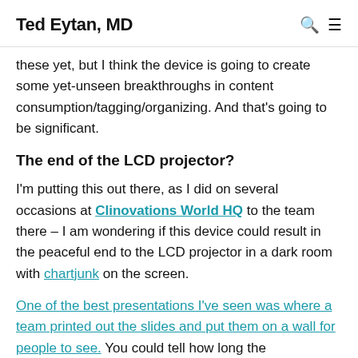Ted Eytan, MD
these yet, but I think the device is going to create some yet-unseen breakthroughs in content consumption/tagging/organizing. And that's going to be significant.
The end of the LCD projector?
I'm putting this out there, as I did on several occasions at Clinovations World HQ to the team there – I am wondering if this device could result in the peaceful end to the LCD projector in a dark room with chartjunk on the screen.
One of the best presentations I've seen was where a team printed out the slides and put them on a wall for people to see. You could tell how long the